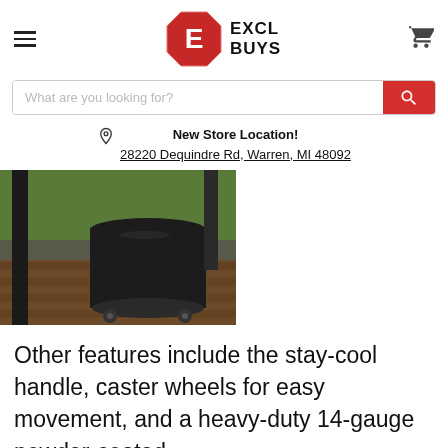[Figure (logo): Excl Buys logo: red octagon with white E, text EXCL BUYS]
[Figure (screenshot): Search bar with placeholder 'What are you looking for?' and red search button]
New Store Location!
28220 Dequindre Rd, Warren, MI 48092
[Figure (photo): Product photo showing a black grill cover with caster wheels on a wooden deck]
Other features include the stay-cool handle, caster wheels for easy movement, and a heavy-duty 14-gauge powder-coated